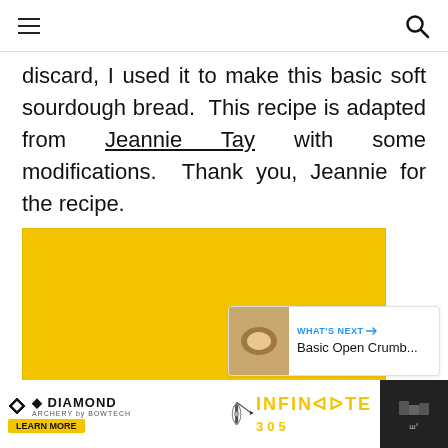Navigation header with hamburger menu and search icon
discard, I used it to make this basic soft sourdough bread.  This recipe is adapted from Jeannie Tay with some modifications.  Thank you, Jeannie for the recipe.
[Figure (photo): Food photo placeholder with yellow/golden background showing bread image area]
[Figure (infographic): Like button (heart icon, blue circle) with count 4 and share button below]
[Figure (infographic): WHAT'S NEXT card showing Basic Open Crumb... with thumbnail image]
[Figure (infographic): Diamond Archery advertisement bar at bottom with INFINITE 305 text and archery equipment imagery]